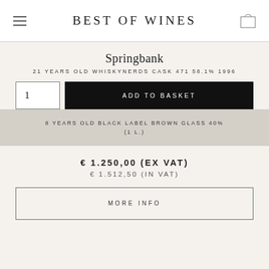BEST OF WINES
Springbank
21 YEARS OLD WHISKYNERDS CASK 471 58.1% 1996
8 YEARS OLD BLACK LABEL BROWN GLASS 40% (1 L.)
€ 1.250,00 (EX VAT)
€ 1.512,50 (IN VAT)